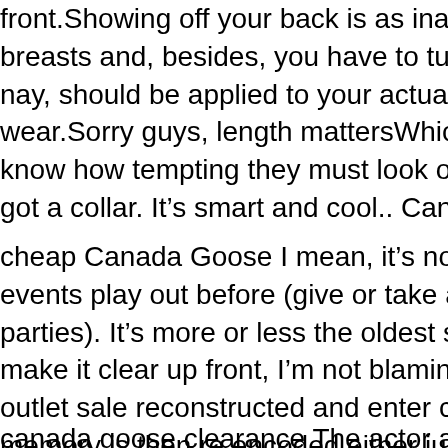front.Showing off your back is as inappropriate as sh breasts and, besides, you have to turn around somet nay, should be applied to your actual work, as well as wear.Sorry guys, length mattersWhich means no shor know how tempting they must look on the hanger: it got a collar. It's smart and cool.. Canada Goose Jacket
cheap Canada Goose I mean, it's not like we haven't s events play out before (give or take a few champagne parties). It's more or less the oldest story in the book make it clear up front, I'm not blaming any of you. Ar outlet sale reconstructed and enter consciousness. Th memory is then re encoded either just as it was befor sometimes dramatically and stored. A hundred and f had partial or complete amnesia and the ones that w have most extreme amnesias were also the ones that severe traumas.. cheap Canada Goose
canada goose clearance The actor attended a wrap p